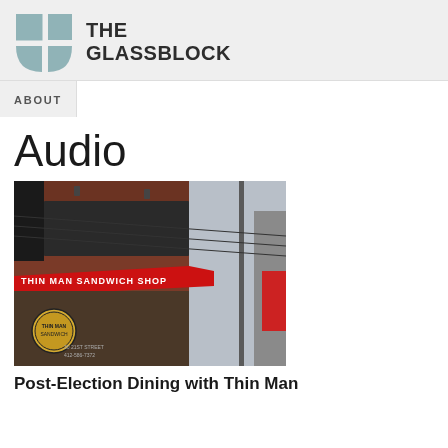[Figure (logo): The Glassblock logo: teal/slate colored quadrant circle icon next to text THE GLASSBLOCK in bold dark letters]
ABOUT
Audio
[Figure (photo): Exterior photograph of Thin Man Sandwich Shop, a brick building with a red awning reading THIN MAN SANDWICH SHOP, street view with utility poles and wires visible]
Post-Election Dining with Thin Man